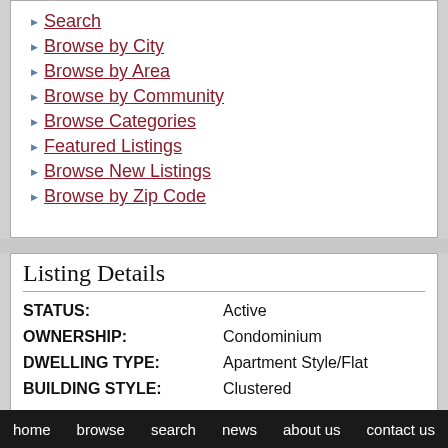Search
Browse by City
Browse by Area
Browse by Community
Browse Categories
Featured Listings
Browse New Listings
Browse by Zip Code
Listing Details
| Field | Value |
| --- | --- |
| STATUS: | Active |
| OWNERSHIP: | Condominium |
| DWELLING TYPE: | Apartment Style/Flat |
| BUILDING STYLE: | Clustered |
home   browse   search   news   about us   contact us